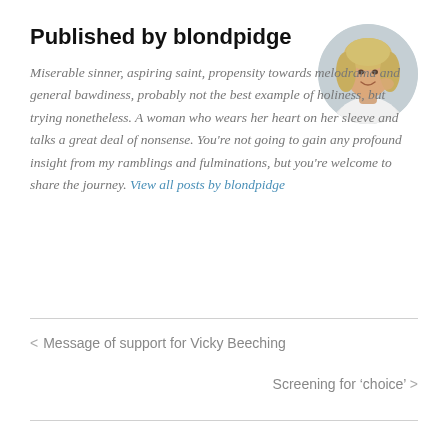Published by blondpidge
[Figure (photo): Circular avatar photo of a blonde woman smiling, wearing a white shirt]
Miserable sinner, aspiring saint, propensity towards melodrama and general bawdiness, probably not the best example of holiness, but trying nonetheless. A woman who wears her heart on her sleeve and talks a great deal of nonsense. You're not going to gain any profound insight from my ramblings and fulminations, but you're welcome to share the journey. View all posts by blondpidge
< Message of support for Vicky Beeching
Screening for 'choice' >